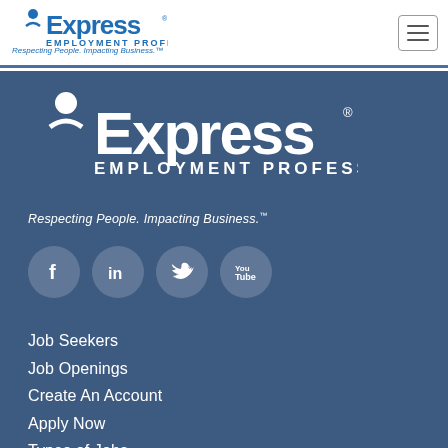[Figure (logo): Express Employment Professionals logo in header bar, blue text with figure above X]
[Figure (other): Hamburger menu icon in top right corner]
[Figure (logo): Express Employment Professionals large white logo on dark blue background]
Respecting People. Impacting Business.™
[Figure (infographic): Social media icons: Facebook, LinkedIn, Twitter, YouTube — white icons on semi-transparent circles]
Job Seekers
Job Openings
Create An Account
Apply Now
Types of Jobs
Hiring Process
FAQs